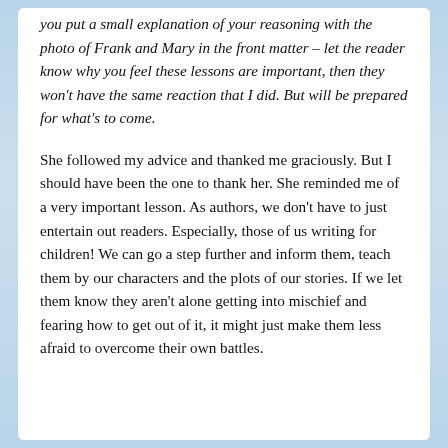you put a small explanation of your reasoning with the photo of Frank and Mary in the front matter – let the reader know why you feel these lessons are important, then they won't have the same reaction that I did. But will be prepared for what's to come.
She followed my advice and thanked me graciously. But I should have been the one to thank her. She reminded me of a very important lesson. As authors, we don't have to just entertain out readers. Especially, those of us writing for children! We can go a step further and inform them, teach them by our characters and the plots of our stories. If we let them know they aren't alone getting into mischief and fearing how to get out of it, it might just make them less afraid to overcome their own battles.